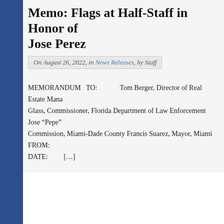Memo: Flags at Half-Staff in Honor of Jose Perez
On August 26, 2022, in News Releases, by Staff
MEMORANDUM   TO:              Tom Berger, Director of Real Estate Mana... Glass, Commissioner, Florida Department of Law Enforcement Jose “Pepe” ... Commission, Miami-Dade County Francis Suarez, Mayor, Miami   FROM: ... DATE:          […]
« Previous Entries